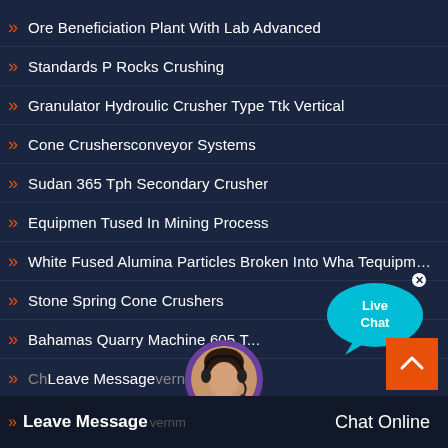Ore Beneficiation Plant With Lab Advanced
Standards P Rocks Crushing
Granulator Hydroulic Crusher Type Ttk Vertical
Cone Crushersconveyor Systems
Sudan 365 Tph Secondary Crusher
Equipmen Tused In Mining Process
White Fused Alumina Particles Broken Into Wha Tequipmen Tis G...
Stone Spring Cone Crushers
Bahamas Quarry Machine 605 T...
Ch... vernm...
[Figure (infographic): Live Chat speech bubble icon in cyan/blue color with white text 'Live Chat' and a close X button]
[Figure (photo): Customer support agent avatar - woman with headset, circular photo]
Leave Message   Chat Online